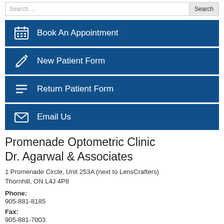Book An Appointment
New Patient Form
Return Patient Form
Email Us
Promenade Optometric Clinic Dr. Agarwal & Associates
1 Promenade Circle, Unit 253A (next to LensCrafters)
Thornhill, ON L4J 4P8
Phone:
905-881-8185
Fax:
905-881-7003